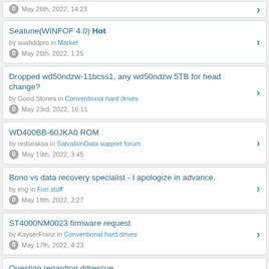0  May 26th, 2022, 14:23 (partial, top card cut off)
Seatune(WINFOF 4.0) Hot — by suahddpro in Market — 0 May 26th, 2022, 1:25
Dropped wd50ndzw-11bcss1, any wd50ndzw 5TB for head change? — by Good Stones in Conventional hard drives — 0 May 23rd, 2022, 16:11
WD400BB-60JKA0 ROM — by redseaksa in SalvationData support forum — 0 May 19th, 2022, 3:45
Bono vs data recovery specialist - I apologize in advance. — by img in Fun stuff — 0 May 18th, 2022, 3:27
ST4000NM0023 firmware request — by KayserFranz in Conventional hard drives — 0 May 17th, 2022, 4:23
Question regarding ddrescue — by baz00ka in Conventional hard drives — 0 May 17th, 2022, 1:00
windows 10 security frozen status (partial, bottom cut off)